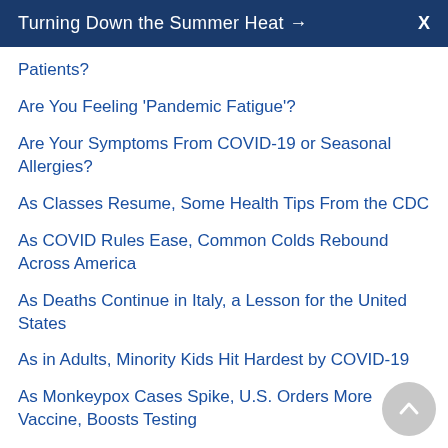Turning Down the Summer Heat →  X
Patients?
Are You Feeling 'Pandemic Fatigue'?
Are Your Symptoms From COVID-19 or Seasonal Allergies?
As Classes Resume, Some Health Tips From the CDC
As COVID Rules Ease, Common Colds Rebound Across America
As Deaths Continue in Italy, a Lesson for the United States
As in Adults, Minority Kids Hit Hardest by COVID-19
As Monkeypox Cases Spike, U.S. Orders More Vaccine, Boosts Testing
As New COVID Variants Emerge, Do You Need to 'Double Mask'?